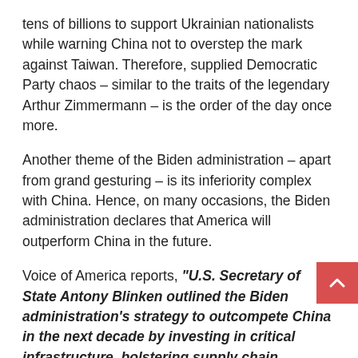tens of billions to support Ukrainian nationalists while warning China not to overstep the mark against Taiwan. Therefore, supplied Democratic Party chaos – similar to the traits of the legendary Arthur Zimmermann – is the order of the day once more.
Another theme of the Biden administration – apart from grand gesturing – is its inferiority complex with China. Hence, on many occasions, the Biden administration declares that America will outperform China in the future.
Voice of America reports, "U.S. Secretary of State Antony Blinken outlined the Biden administration's strategy to outcompete China in the next decade by investing in critical infrastructure, bolstering supply chain security, and working with allies."
Thus Blinken – and the Biden administration – are telling the world that allies are needed for America to outcompete China. Equally, it is confirmation that the Biden administration perceives America to have fallen behind the power dynamics of the Chinese Communist